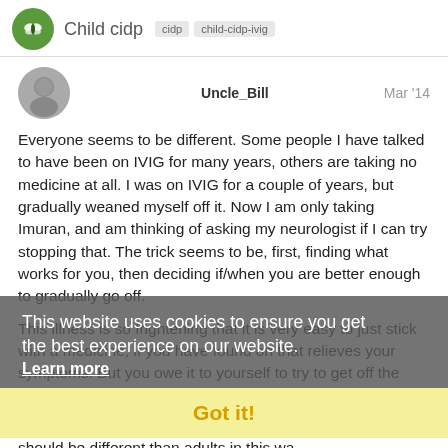Child cidp
Uncle_Bill   Mar '14
Everyone seems to be different. Some people I have talked to have been on IVIG for many years, others are taking no medicine at all. I was on IVIG for a couple of years, but gradually weaned myself off it. Now I am only taking Imuran, and am thinking of asking my neurologist if I can try stopping that. The trick seems to be, first, finding what works for you, then deciding if/when you are better enough to gradually go off.
This illness is so frightening that it is very easy to just stick with a medicine, if you have found on that relieves your symptoms. But you owe it to yourself to try to get off the medicine, if possible.
This website uses cookies to ensure you get the best experience on our website.
Learn more
Got it!
I have not read or heard anything that inc should be different than adults in this wa
1 / 5